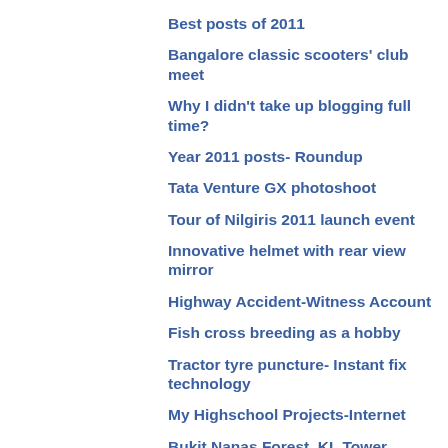Best posts of 2011
Bangalore classic scooters' club meet
Why I didn't take up blogging full time?
Year 2011 posts- Roundup
Tata Venture GX photoshoot
Tour of Nilgiris 2011 launch event
Innovative helmet with rear view mirror
Highway Accident-Witness Account
Fish cross breeding as a hobby
Tractor tyre puncture- Instant fix technology
My Highschool Projects-Internet
Bukit Nanas Forest, KL Tower, Malaysia
Make custom calendar wallpapers using Photoshop
Travelogues, moderated by Govt of India
Book Review: Bhavna Rai's Fate, Fraud & A Friday W...
How to deal with job interview delays
Tata Aria Photos-Final Set